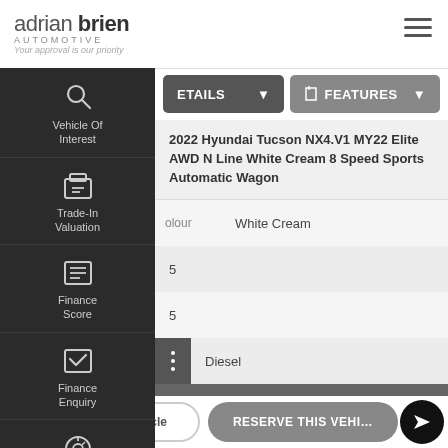[Figure (logo): Adrian Brien Automotive logo with tagline 'Your approval is our priority']
[Figure (other): Hamburger menu icon (three horizontal lines)]
[Figure (other): Sidebar navigation with icons: Vehicle Of Interest, Trade-In Valuation, Finance Score, Finance Enquiry, Book A Test Drive]
ETAILS
FEATURES
2022 Hyundai Tucson NX4.V1 MY22 Elite AWD N Line White Cream 8 Speed Sports Automatic Wagon
olour
White Cream
5
5
Diesel
CONTACT US
$ Finance This Vehicle
RESERVE THIS VEHICLE